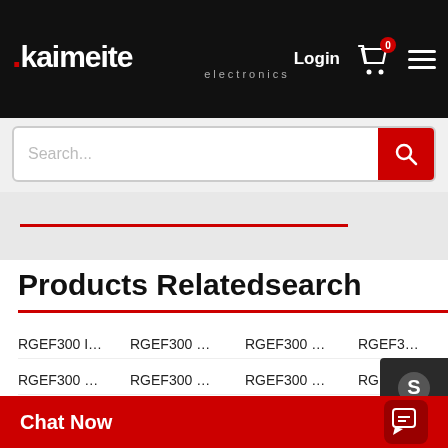[Figure (screenshot): Kaimeite Electronics website header with logo, login link, cart icon, and hamburger menu on black background]
[Figure (screenshot): Search bar with placeholder text 'Search...' and red search button]
Products Relatedsearch
RGEF300 I…
RGEF300 …
RGEF300 …
RGEF300 …
RGEF300 …
RGEF300 …
RGEF300 …
RGEF300 …
RGEF300 …
RGEF300 I…
RGEF300 …
RGEF300 …
RGEF300 …
RGEF3…
Chat Now